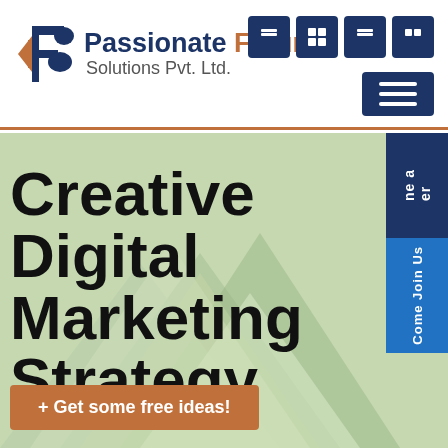[Figure (logo): Passionate Futurist Solutions Pvt. Ltd. logo with stylized F/B icon in navy blue and orange]
[Figure (other): Navigation icon buttons (4 small squares) and hamburger menu button in navy blue]
[Figure (photo): Hero banner with light green/sage background featuring staircase paper art, large bold title text 'Creative Digital Marketing Strategy', blue side tab with 'Come Join Us' and dark navy tab with partial text, and orange CTA button '+ Get some free ideas!']
Creative Digital Marketing Strategy
+ Get some free ideas!